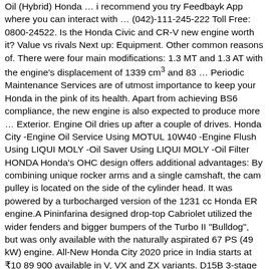Oil (Hybrid) Honda … i recommend you try Feedbayk App where you can interact with … (042)-111-245-222 Toll Free: 0800-24522. Is the Honda Civic and CR-V new engine worth it? Value vs rivals Next up: Equipment. Other common reasons of. There were four main modifications: 1.3 MT and 1.3 AT with the engine's displacement of 1339 cm³ and 83 … Periodic Maintenance Services are of utmost importance to keep your Honda in the pink of its health. Apart from achieving BS6 compliance, the new engine is also expected to produce more … Exterior. Engine Oil dries up after a couple of drives. Honda City -Engine Oil Service Using MOTUL 10W40 -Engine Flush Using LIQUI MOLY -Oil Saver Using LIQUI MOLY -Oil Filter HONDA Honda's OHC design offers additional advantages: By combining unique rocker arms and a single camshaft, the cam pulley is located on the side of the cylinder head. It was powered by a turbocharged version of the 1231 cc Honda ER engine.A Pininfarina designed drop-top Cabriolet utilized the wider fenders and bigger bumpers of the Turbo II "Bulldog", but was only available with the naturally aspirated 67 PS (49 kW) engine. All-New Honda City 2020 price in India starts at ₹10 89 900 available in V, VX and ZX variants. D15B 3-stage VTEC or the D17 on the new Civic. Engine Type: 4 Cylinder, 16 Valve, DOHC i-VTEC: 4 Cylinder, 16 Valve,